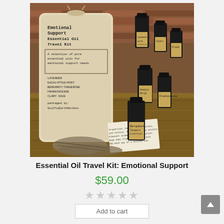[Figure (photo): A linen drawstring bag labeled 'Emotional Support Essential Oil Travel Kit' with a selection of small dark glass essential oil bottles displayed on a wooden tray against a brick wall background. The bag lists oils: Lavender, Eucalyptus/Mint, Bergamot/Tangerine, Frankincense, Clary Sage. Packaged by SoulfulEarthHerbals.]
Essential Oil Travel Kit: Emotional Support
$59.00
★★★★★ (empty stars rating)
Add to cart